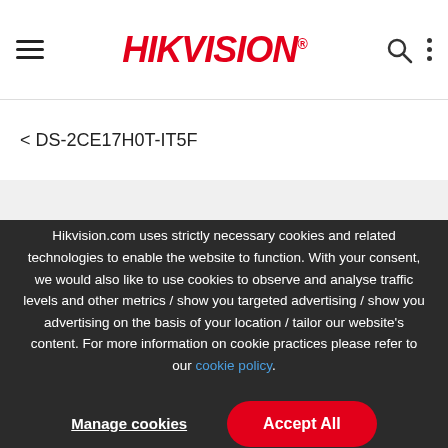HIKVISION
< DS-2CE17H0T-IT5F
Hikvision.com uses strictly necessary cookies and related technologies to enable the website to function. With your consent, we would also like to use cookies to observe and analyse traffic levels and other metrics / show you targeted advertising / show you advertising on the basis of your location / tailor our website's content. For more information on cookie practices please refer to our cookie policy.
Manage cookies
Accept All